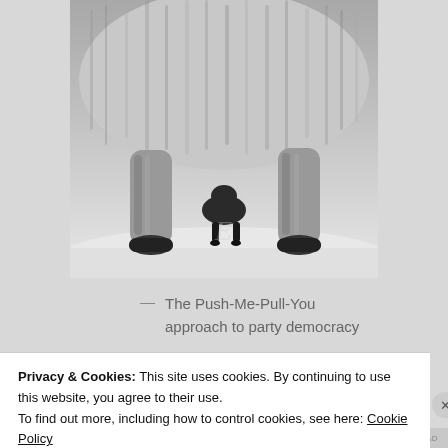[Figure (photo): Black and white photograph showing the legs and lower body of a large furry animal (likely a goat or similar), with a small dark animal visible underneath between the legs, standing on a snowy surface.]
— The Push-Me-Pull-You approach to party democracy
Privacy & Cookies: This site uses cookies. By continuing to use this website, you agree to their use.
To find out more, including how to control cookies, see here: Cookie Policy
Close and accept